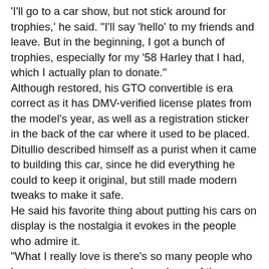'I'll go to a car show, but not stick around for trophies,' he said. 'I'll say 'hello' to my friends and leave. But in the beginning, I got a bunch of trophies, especially for my '58 Harley that I had, which I actually plan to donate.' Although restored, his GTO convertible is era correct as it has DMV-verified license plates from the model's year, as well as a registration sticker in the back of the car where it used to be placed. Ditullio described himself as a purist when it came to building this car, since he did everything he could to keep it original, but still made modern tweaks to make it safe. He said his favorite thing about putting his cars on display is the nostalgia it evokes in the people who admire it. "What I really love is there's so many people who have come up to me and owned one of these cars in the past, and I bring them back to that time,'" he said. "I even start seeing people my age bringing their grandkids who become interested in it. So it's nice to see that it's not going to die out as quickly as I thought."